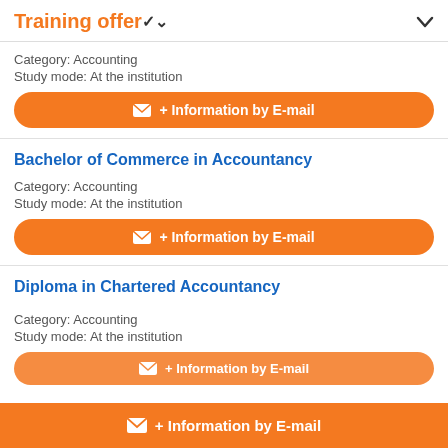Training offer
Category: Accounting
Study mode: At the institution
+ Information by E-mail
Bachelor of Commerce in Accountancy
Category: Accounting
Study mode: At the institution
+ Information by E-mail
Diploma in Chartered Accountancy
Category: Accounting
Study mode: At the institution
+ Information by E-mail
+ Information by E-mail